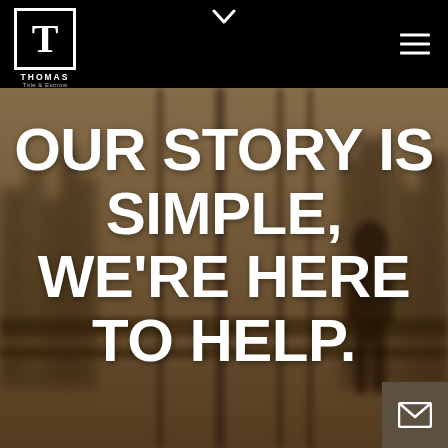Thomas Title & Escrow
OUR STORY IS SIMPLE, WE'RE HERE TO HELP.
[Figure (logo): Thomas Title & Escrow logo with white T in a square box on black background, with hamburger menu icon and chevron down arrow]